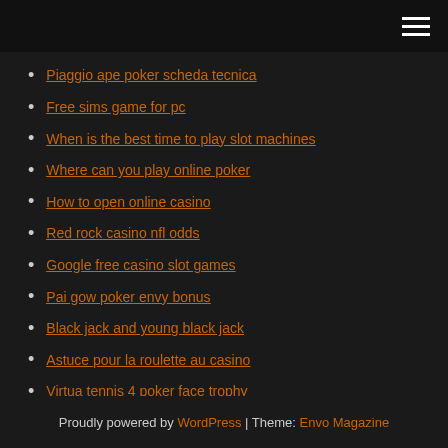Navigation menu icon
Piaggio ape poker scheda tecnica
Free sims game for pc
When is the best time to play slot machines
Where can you play online poker
How to open online casino
Red rock casino nfl odds
Google free casino slot games
Pai gow poker envy bonus
Black jack and young black jack
Astuce pour la roulette au casino
Virtua tennis 4 poker face trophy
Proudly powered by WordPress | Theme: Envo Magazine